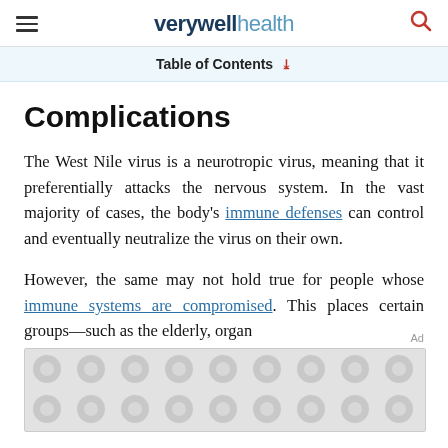verywell health
Table of Contents
Complications
The West Nile virus is a neurotropic virus, meaning that it preferentially attacks the nervous system. In the vast majority of cases, the body's immune defenses can control and eventually neutralize the virus on their own.
However, the same may not hold true for people whose immune systems are compromised. This places certain groups—such as the elderly, organ
[Figure (other): Advertisement placeholder with circular dot pattern]